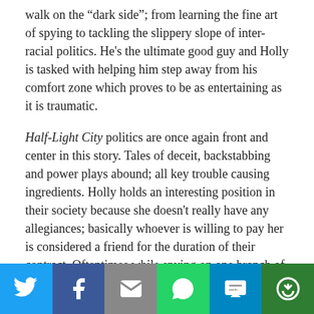walk on the "dark side"; from learning the fine art of spying to tackling the slippery slope of inter-racial politics. He's the ultimate good guy and Holly is tasked with helping him step away from his comfort zone which proves to be as entertaining as it is traumatic.
Half-Light City politics are once again front and center in this story. Tales of deceit, backstabbing and power plays abound; all key trouble causing ingredients. Holly holds an interesting position in their society because she doesn't really have any allegiances; basically whoever is willing to pay her is considered a friend for the duration of their contract. Oftentimes while spying on one branch of supes she picks up information that's invaluable to another sect which in turn leaves her in a precarious situation. This girl is definitely a master manipulator and knows how to walk a fine line!
This book's plot line is closely connected to the events that
[Figure (infographic): Social media share bar with six buttons: Twitter (blue bird icon), Facebook (dark blue f icon), Email (grey envelope icon), WhatsApp (green phone icon), SMS (blue SMS icon), More (green circular arrows icon)]